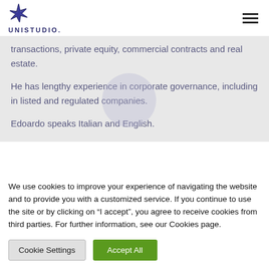UNISTUDIO.
transactions, private equity, commercial contracts and real estate.
He has lengthy experience in corporate governance, including in listed and regulated companies.
Edoardo speaks Italian and English.
We use cookies to improve your experience of navigating the website and to provide you with a customized service. If you continue to use the site or by clicking on “I accept”, you agree to receive cookies from third parties. For further information, see our Cookies page.